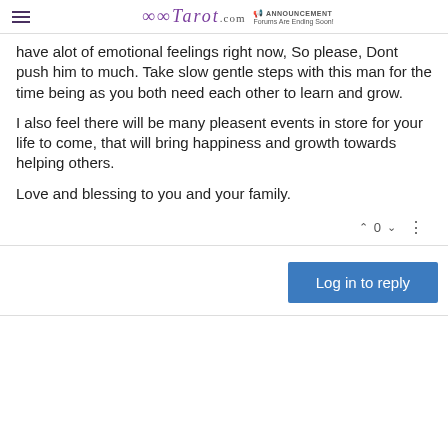Tarot.com | ANNOUNCEMENT Forums Are Ending Soon!
have alot of emotional feelings right now, So please, Dont push him to much. Take slow gentle steps with this man for the time being as you both need each other to learn and grow.
I also feel there will be many pleasent events in store for your life to come, that will bring happiness and growth towards helping others.
Love and blessing to you and your family.
^ 0 v  ⋮
Log in to reply